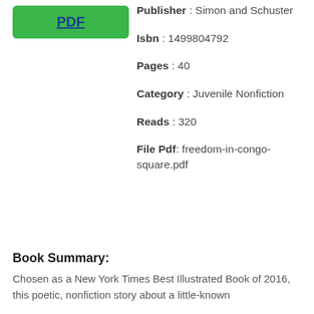[Figure (other): Green PDF button with underlined blue text 'PDF']
Publisher : Simon and Schuster
Isbn : 1499804792
Pages : 40
Category : Juvenile Nonfiction
Reads : 320
File Pdf: freedom-in-congo-square.pdf
Book Summary:
Chosen as a New York Times Best Illustrated Book of 2016, this poetic, nonfiction story about a little-known